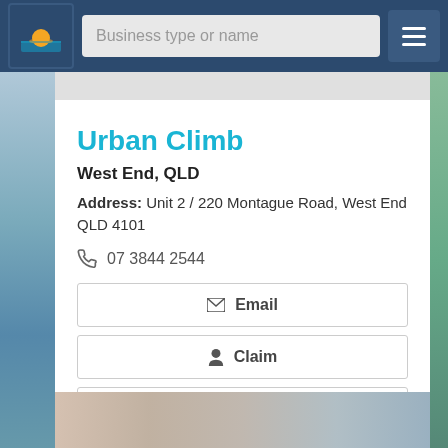[Figure (screenshot): Navigation bar with sunrise logo, search input 'Business type or name', and hamburger menu]
Urban Climb
West End, QLD
Address: Unit 2 / 220 Montague Road, West End QLD 4101
07 3844 2544
Email
Claim
Call Now
View Details